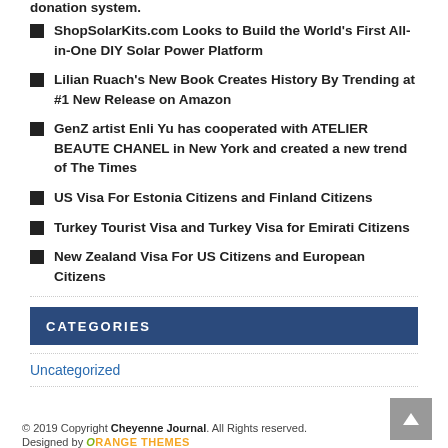donation system.
ShopSolarKits.com Looks to Build the World's First All-in-One DIY Solar Power Platform
Lilian Ruach's New Book Creates History By Trending at #1 New Release on Amazon
GenZ artist Enli Yu has cooperated with ATELIER BEAUTE CHANEL in New York and created a new trend of The Times
US Visa For Estonia Citizens and Finland Citizens
Turkey Tourist Visa and Turkey Visa for Emirati Citizens
New Zealand Visa For US Citizens and European Citizens
CATEGORIES
Uncategorized
© 2019 Copyright Cheyenne Journal. All Rights reserved.
Designed by ORANGE THEMES